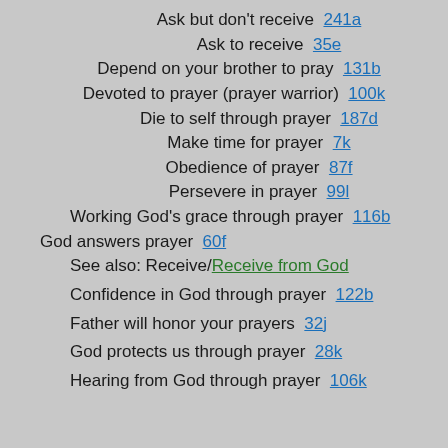Ask but don't receive  241a
Ask to receive  35e
Depend on your brother to pray  131b
Devoted to prayer (prayer warrior)  100k
Die to self through prayer  187d
Make time for prayer  7k
Obedience of prayer  87f
Persevere in prayer  99l
Working God's grace through prayer  116b
God answers prayer  60f
See also: Receive/Receive from God
Confidence in God through prayer  122b
Father will honor your prayers  32j
God protects us through prayer  28k
Hearing from God through prayer  106k